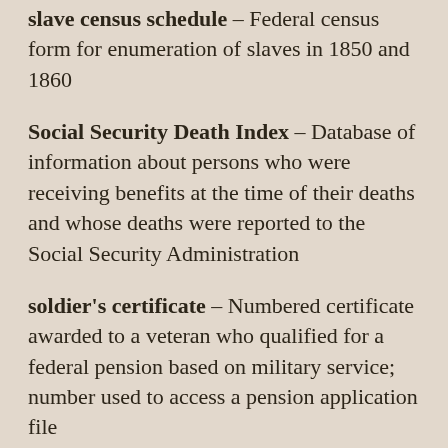slave census schedule – Federal census form for enumeration of slaves in 1850 and 1860
Social Security Death Index – Database of information about persons who were receiving benefits at the time of their deaths and whose deaths were reported to the Social Security Administration
soldier's certificate – Numbered certificate awarded to a veteran who qualified for a federal pension based on military service; number used to access a pension application file
Soundex – Partially phonetic indexing system in which names are arranged alphabetically by